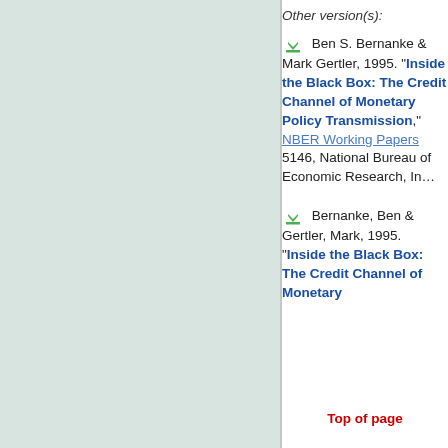[Figure (other): Left panel green-gray background area]
Other version(s):
Ben S. Bernanke & Mark Gertler, 1995. "Inside the Black Box: The Credit Channel of Monetary Policy Transmission," NBER Working Papers 5146, National Bureau of Economic Research, Inc.
Bernanke, Ben & Gertler, Mark, 1995. "Inside the Black Box: The Credit Channel of Monetary
Top of page